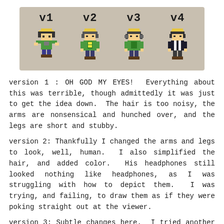[Figure (illustration): Four pixel art character sprites labeled v1, v2, v3, v4 showing evolution of a game character design. All versions show a blonde character with green shirt/jacket. Displayed on a tan/beige background panel.]
version 1 : OH GOD MY EYES!  Everything about this was terrible, though admittedly it was just to get the idea down.  The hair is too noisy, the arms are nonsensical and hunched over, and the legs are short and stubby.
version 2: Thankfully I changed the arms and legs to look, well, human.  I also simplified the hair, and added color.  His headphones still looked nothing like headphones, as I was struggling with how to depict them.  I was trying, and failing, to draw them as if they were poking straight out at the viewer.
version 3: Subtle changes here.  I tried another kind of headphones, and it also was not working.  I also changed the logo on his shirt from one meaningless shape to another